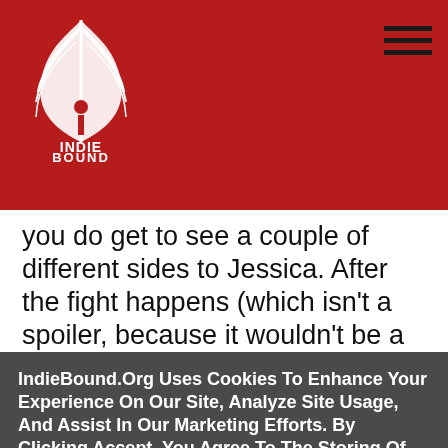[Figure (logo): IndieBound logo: white feather/quill design with 'INDIE BOUND' text below on a red background]
you do get to see a couple of different sides to Jessica. After the fight happens (which isn't a spoiler, because it wouldn't be a Kung Fu Special without one), things kind of take a turn from there. What we end up with is something quite unexpected, and yet, should leave you smiling at the end.
IndieBound.Org Uses Cookies To Enhance Your Experience On Our Site, Analyze Site Usage, And Assist In Our Marketing Efforts. By Clicking Accept, You Agree To The Storing Of Cookies On Your Device. View Our Cookie Policy.
Give me more info
Accept all Cookies